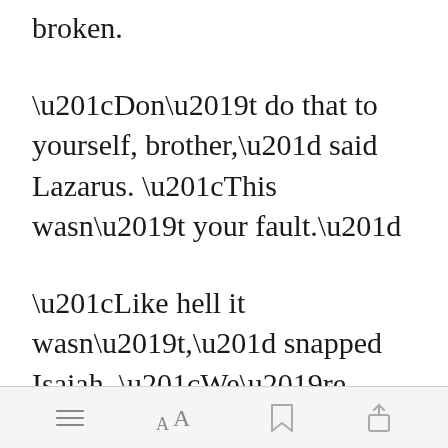broken.
“Don’t do that to yourself, brother,” said Lazarus. “This wasn’t your fault.”
“Like hell it wasn’t,” snapped Isaiah. “We’re dangerous wolves who lead a fucked-up life. A life that wasn’t meant for a woman like Ashley.”
Open in app
[Figure (other): Toolbar with menu, font, bookmark, and share icons]